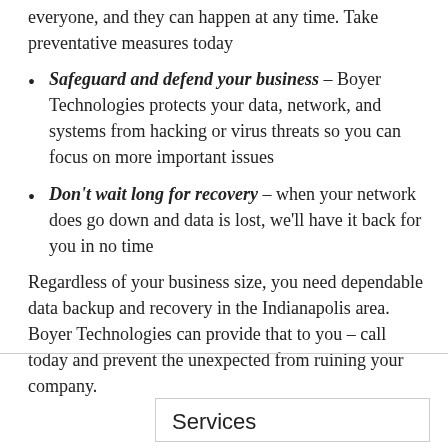everyone, and they can happen at any time. Take preventative measures today
Safeguard and defend your business – Boyer Technologies protects your data, network, and systems from hacking or virus threats so you can focus on more important issues
Don't wait long for recovery – when your network does go down and data is lost, we'll have it back for you in no time
Regardless of your business size, you need dependable data backup and recovery in the Indianapolis area. Boyer Technologies can provide that to you – call today and prevent the unexpected from ruining your company.
Services